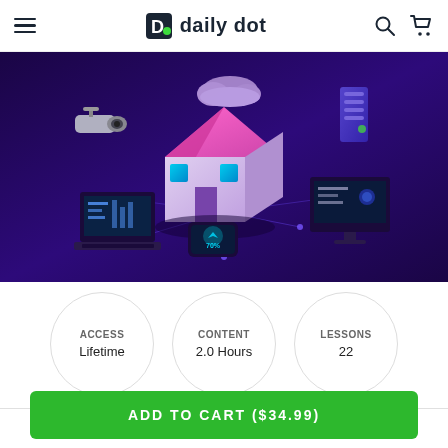daily dot
[Figure (illustration): Smart home isometric illustration showing a house with pink roof, security camera, laptop, desktop monitor, smartphone, cloud, and server on a dark purple gradient background with glowing circuit lines]
ACCESS
Lifetime
CONTENT
2.0 Hours
LESSONS
22
ADD TO CART ($34.99)